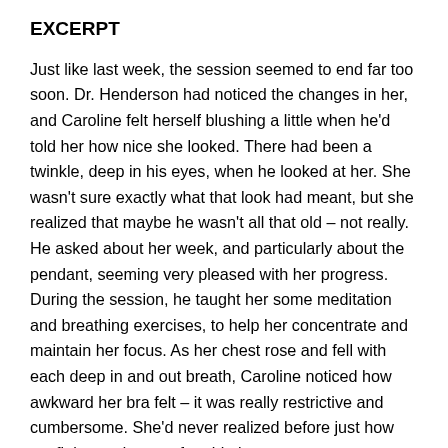EXCERPT
Just like last week, the session seemed to end far too soon. Dr. Henderson had noticed the changes in her, and Caroline felt herself blushing a little when he'd told her how nice she looked. There had been a twinkle, deep in his eyes, when he looked at her. She wasn't sure exactly what that look had meant, but she realized that maybe he wasn't all that old – not really.
He asked about her week, and particularly about the pendant, seeming very pleased with her progress. During the session, he taught her some meditation and breathing exercises, to help her concentrate and maintain her focus. As her chest rose and fell with each deep in and out breath, Caroline noticed how awkward her bra felt – it was really restrictive and cumbersome. She'd never realized before just how confining and uncomfortable it was.